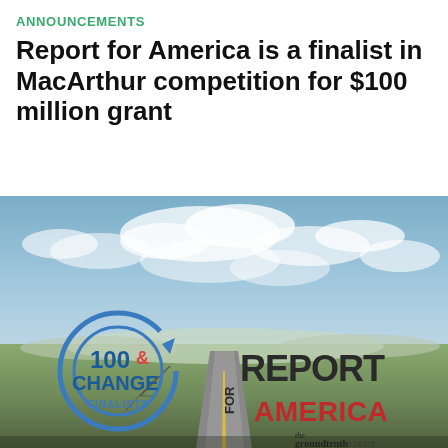ANNOUNCEMENTS
Report for America is a finalist in MacArthur competition for $100 million grant
[Figure (photo): Promotional image combining a landscape photo of an open road stretching into the distance under a cloudy sky, overlaid with two logos: '100& CHANGE FINALISTS' (MacArthur competition logo in blue) on the left, and 'REPORT FOR AMERICA' with 'the groundtruth project' in dark and red text on the right.]